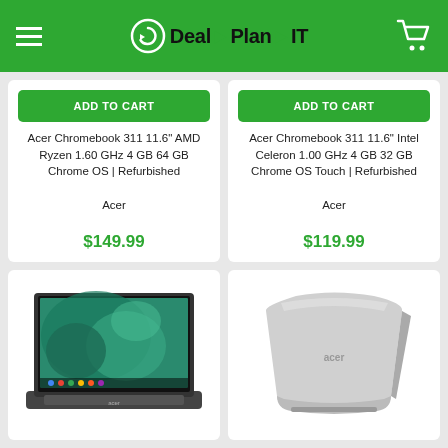Deal Plan IT
ADD TO CART
Acer Chromebook 311 11.6" AMD Ryzen 1.60 GHz 4 GB 64 GB Chrome OS | Refurbished
Acer
$149.99
ADD TO CART
Acer Chromebook 311 11.6" Intel Celeron 1.00 GHz 4 GB 32 GB Chrome OS Touch | Refurbished
Acer
$119.99
[Figure (photo): Acer Chromebook laptop open, showing Chrome OS home screen with green abstract wallpaper]
[Figure (photo): Acer Chromebook silver laptop shown from rear/side angle, closed lid]